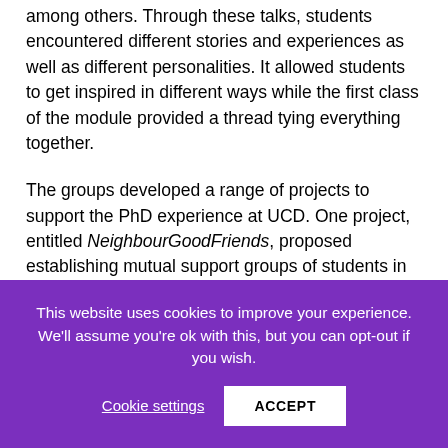among others. Through these talks, students encountered different stories and experiences as well as different personalities. It allowed students to get inspired in different ways while the first class of the module provided a thread tying everything together.
The groups developed a range of projects to support the PhD experience at UCD. One project, entitled NeighbourGoodFriends, proposed establishing mutual support groups of students in local neighbourhoods in the Dublin area. The network would help to integrate particularly new
This website uses cookies to improve your experience. We'll assume you're ok with this, but you can opt-out if you wish.
Cookie settings
ACCEPT